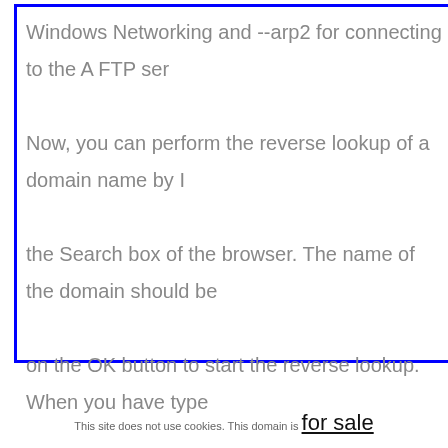Windows Networking and --arp2 for connecting to the A FTP ser... Now, you can perform the reverse lookup of a domain name by I... the Search box of the browser. The name of the domain should be... on the OK button to start the reverse lookup. When you have type... have clicked on the OK button, you will get the detailed informat... details and the contact details. The detailed report will include the... and age of the owner of the domain name. There are also some a... agent, office location and email address. These details are enough...
This site does not use cookies. This domain is for sale